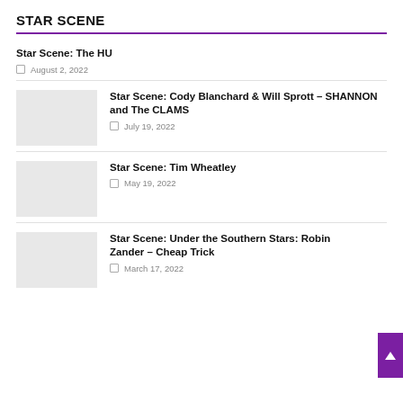STAR SCENE
Star Scene: The HU
August 2, 2022
Star Scene: Cody Blanchard & Will Sprott – SHANNON and The CLAMS
July 19, 2022
Star Scene: Tim Wheatley
May 19, 2022
Star Scene: Under the Southern Stars: Robin Zander – Cheap Trick
March 17, 2022